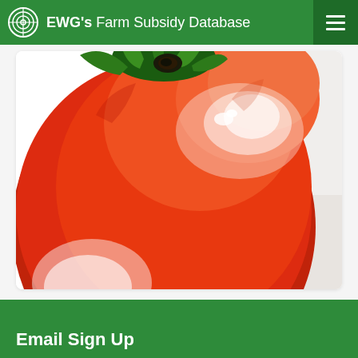EWG's Farm Subsidy Database
[Figure (photo): Close-up photograph of a large red tomato with green stem on a white background, cropped to show only the top portion of the tomato.]
Email Sign Up